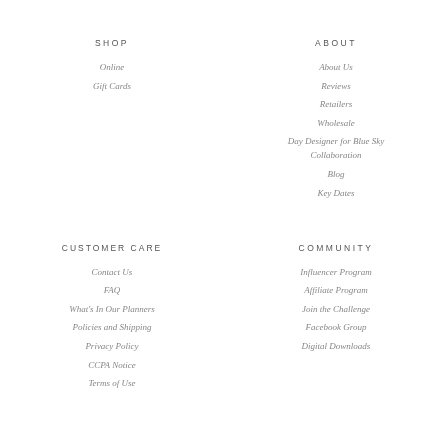SHOP
Online
Gift Cards
ABOUT
About Us
Reviews
Retailers
Wholesale
Day Designer for Blue Sky Collaboration
Blog
Key Dates
CUSTOMER CARE
Contact Us
FAQ
What's In Our Planners
Policies and Shipping
Privacy Policy
CCPA Notice
Terms of Use
COMMUNITY
Influencer Program
Affiliate Program
Join the Challenge
Facebook Group
Digital Downloads